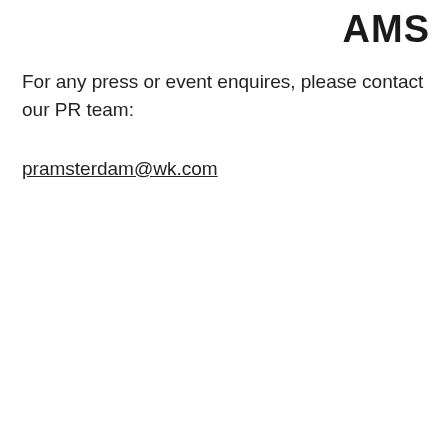AMS
For any press or event enquires, please contact our PR team:
pramsterdam@wk.com